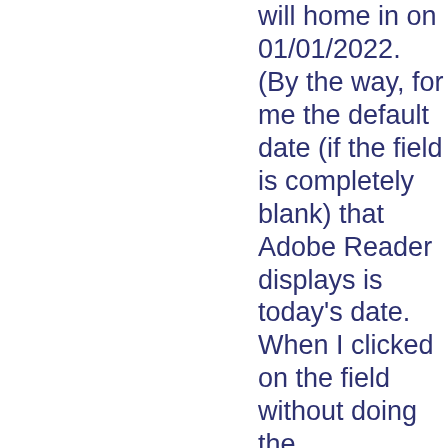will home in on 01/01/2022. (By the way, for me the default date (if the field is completely blank) that Adobe Reader displays is today's date. When I clicked on the field without doing the